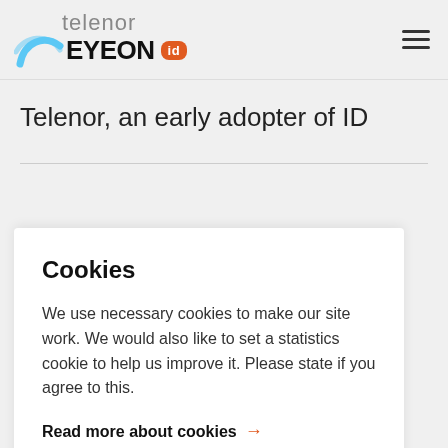[Figure (logo): Telenor EYEON id logo with swoosh graphic and orange 'id' badge, plus hamburger menu icon on the right]
Telenor, an early adopter of ID
Cookies
We use necessary cookies to make our site work. We would also like to set a statistics cookie to help us improve it. Please state if you agree to this.
Read more about cookies →
Yes   No